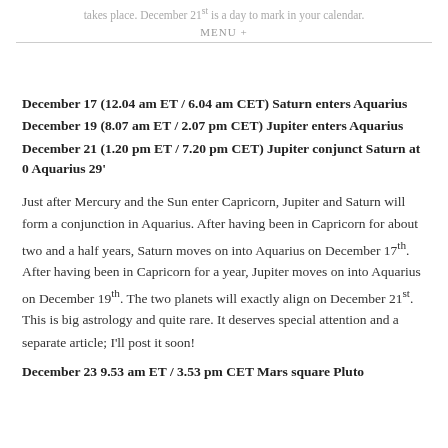takes place. December 21st is a day to mark in your calendar.
MENU +
December 17 (12.04 am ET / 6.04 am CET) Saturn enters Aquarius
December 19 (8.07 am ET / 2.07 pm CET) Jupiter enters Aquarius
December 21 (1.20 pm ET / 7.20 pm CET) Jupiter conjunct Saturn at 0 Aquarius 29'
Just after Mercury and the Sun enter Capricorn, Jupiter and Saturn will form a conjunction in Aquarius. After having been in Capricorn for about two and a half years, Saturn moves on into Aquarius on December 17th. After having been in Capricorn for a year, Jupiter moves on into Aquarius on December 19th. The two planets will exactly align on December 21st. This is big astrology and quite rare. It deserves special attention and a separate article; I'll post it soon!
December 23 9.53 am ET / 3.53 pm CET Mars square Pluto